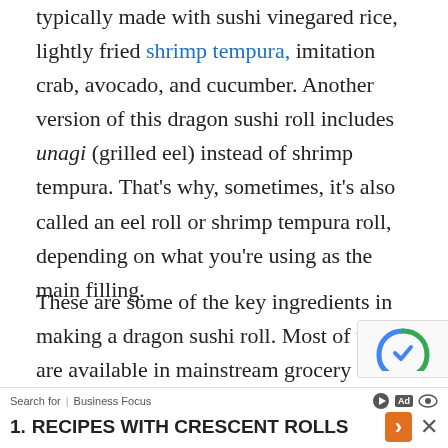typically made with sushi vinegared rice, lightly fried shrimp tempura, imitation crab, avocado, and cucumber. Another version of this dragon sushi roll includes unagi (grilled eel) instead of shrimp tempura. That's why, sometimes, it's also called an eel roll or shrimp tempura roll, depending on what you're using as the main filling.
These are some of the key ingredients in making a dragon sushi roll. Most of them are available in mainstream grocery stores. It wasn't difficult to find the ingredients I wanted. For my dragon roll recipe, I didn't have time to prepare a homemade shrimp tempura and unagi. Instead, I bought those frozen ready-made ones at the store. Then, I just baked the tempura until they were golden and crispy, and sliced the grilled eel for topping. I also bought one of those nori (seaweed) sheets and imitation crab.
Search for | Business Focus   1. RECIPES WITH CRESCENT ROLLS